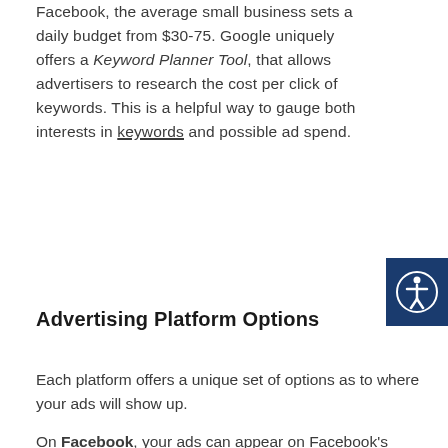Facebook, the average small business sets a daily budget from $30-75. Google uniquely offers a Keyword Planner Tool, that allows advertisers to research the cost per click of keywords. This is a helpful way to gauge both interests in keywords and possible ad spend.
Advertising Platform Options
Each platform offers a unique set of options as to where your ads will show up.
On Facebook, your ads can appear on Facebook's News Feed, Instagram, Audience Network, and Facebook Messenger (Note: Messenger Ads have particularly high open rates. Messenger has 1.3 billion users sending 8 billion messages between businesses and people every month.)
Google Ads can appear in Google Search, Youtube, Google